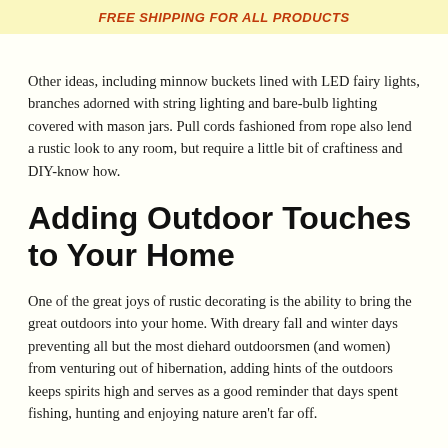FREE SHIPPING FOR ALL PRODUCTS
Other ideas, including minnow buckets lined with LED fairy lights, branches adorned with string lighting and bare-bulb lighting covered with mason jars. Pull cords fashioned from rope also lend a rustic look to any room, but require a little bit of craftiness and DIY-know how.
Adding Outdoor Touches to Your Home
One of the great joys of rustic decorating is the ability to bring the great outdoors into your home. With dreary fall and winter days preventing all but the most diehard outdoorsmen (and women) from venturing out of hibernation, adding hints of the outdoors keeps spirits high and serves as a good reminder that days spent fishing, hunting and enjoying nature aren't far off.